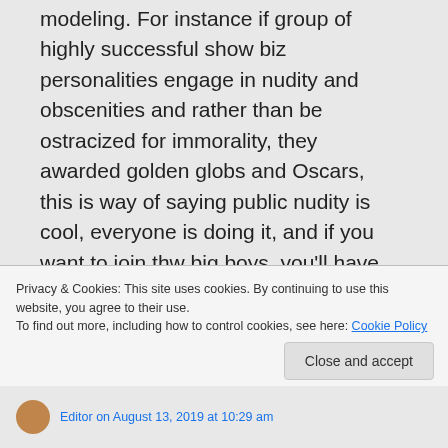modeling. For instance if group of highly successful show biz personalities engage in nudity and obscenities and rather than be ostracized for immorality, they awarded golden globs and Oscars, this is way of saying public nudity is cool, everyone is doing it, and if you want to join thw big boys, you'll have to do it. Perhaps this is the most dangerous type of peer pressure that leads millions of young and impressionable teens astray
Privacy & Cookies: This site uses cookies. By continuing to use this website, you agree to their use.
To find out more, including how to control cookies, see here: Cookie Policy
Close and accept
Editor on August 13, 2019 at 10:29 am